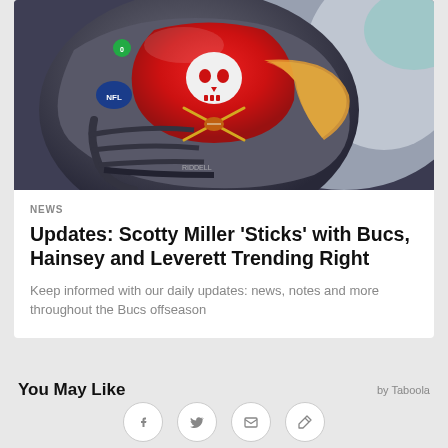[Figure (photo): Close-up of a Tampa Bay Buccaneers NFL football helmet with red skull and crossed swords logo, dark metallic shell, face mask visible, blurred background with purple/teal tones]
NEWS
Updates: Scotty Miller 'Sticks' with Bucs, Hainsey and Leverett Trending Right
Keep informed with our daily updates: news, notes and more throughout the Bucs offseason
You May Like
by Taboola